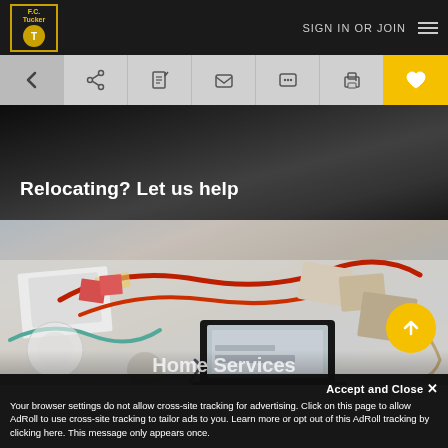F.C. Tucker - SIGN IN OR JOIN
[Figure (screenshot): Navigation toolbar with back arrow, share, document, email, chat, print, and heart/favorite icons. Heart icon has yellow background.]
[Figure (photo): Dark gradient banner with text 'Relocating? Let us help']
Relocating? Let us help
[Figure (photo): Overhead photo of a cluttered desk with laptop, papers, ribbon, scissors, envelopes, and various office/moving items. 'Home Services' text partially visible at bottom.]
Home Services
Accept and Close ✕
Your browser settings do not allow cross-site tracking for advertising. Click on this page to allow AdRoll to use cross-site tracking to tailor ads to you. Learn more or opt out of this AdRoll tracking by clicking here. This message only appears once.